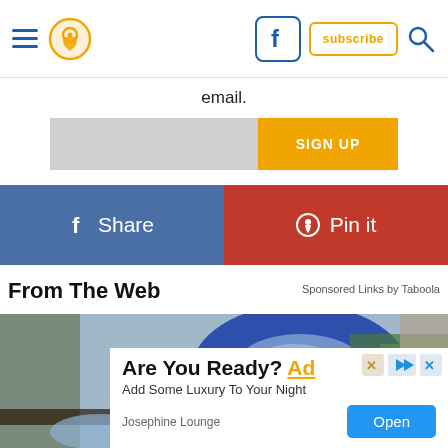Navigation header with hamburger menu, location pin icon, Facebook icon, Subscribe button, and Search icon
email.
SIGN UP
f Share
Pin it
From The Web
Sponsored Links by Taboola
[Figure (photo): Photo of a blue inflatable pool ring/float leaning against outdoor garden area with green plants and stone/gravel background]
Are You Ready? Add Some Luxury To Your Night
Josephine Lounge